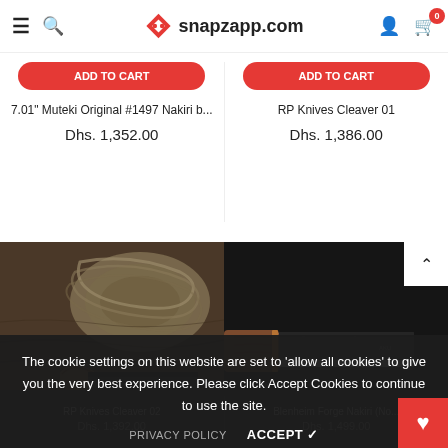snapzapp.com — navigation header with menu, search, logo, user, cart (0)
7.01" Muteki Original #1497 Nakiri b...
Dhs. 1,352.00
RP Knives Cleaver 01
Dhs. 1,386.00
[Figure (photo): Photo of a kitchen cleaver knife with rustic wooden handle and dark blade, displayed on a wooden board with rope in background]
[Figure (photo): Photo of a nakiri-style knife with brown wooden handle on dark background]
RP Knives Cleaver 02
Dhs. 1,392.00
Blenheim Forge Nakiri (No...
Dhs. 1,499.00
The cookie settings on this website are set to 'allow all cookies' to give you the very best experience. Please click Accept Cookies to continue to use the site.
PRIVACY POLICY
ACCEPT ✓